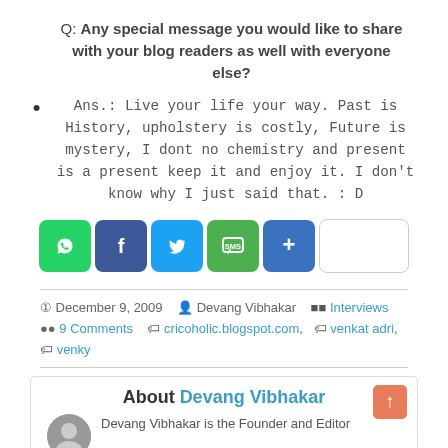Q: Any special message you would like to share with your blog readers as well with everyone else?
Ans.: Live your life your way. Past is History, upholstery is costly, Future is mystery, I dont no chemistry and present is a present keep it and enjoy it. I don't know why I just said that. : D
[Figure (other): Social share buttons: WhatsApp, Facebook, Twitter, SMS, More (+), and a blank button]
December 9, 2009  Devang Vibhakar  Interviews  9 Comments  cricoholic.blogspot.com,  venkat adri,  venky
About Devang Vibhakar
Devang Vibhakar is the Founder and Editor